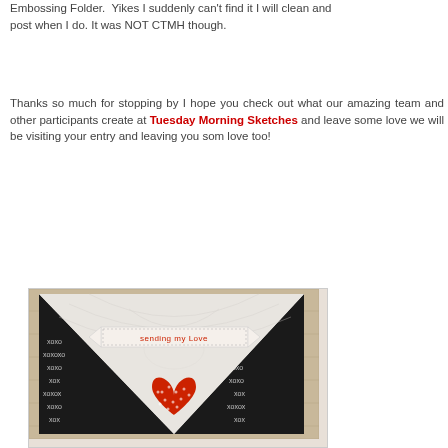Embossing Folder. Yikes I suddenly can't find it I will clean and post when I do. It was NOT CTMH though.
Thanks so much for stopping by I hope you check out what our amazing team and other participants create at Tuesday Morning Sketches and leave some love we will be visiting your entry and leaving you som love too!
[Figure (photo): A handmade Valentine card with black XO patterned paper forming a diagonal envelope shape, a white embossed panel with hearts, a red polka-dot heart in the center, and a banner reading 'sending my Love' in red text, all on a wood plank background.]